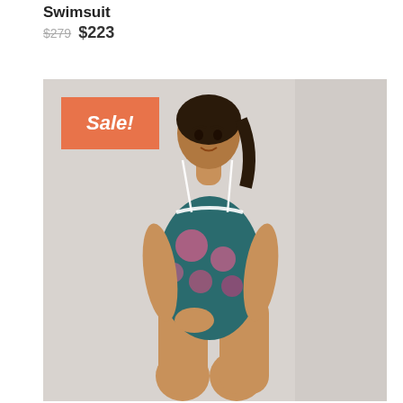Swimsuit
$279 $223
[Figure (photo): Woman wearing a floral one-piece swimsuit with thin straps, standing against a light grey background. A coral/orange 'Sale!' badge is overlaid in the upper left corner of the product image.]